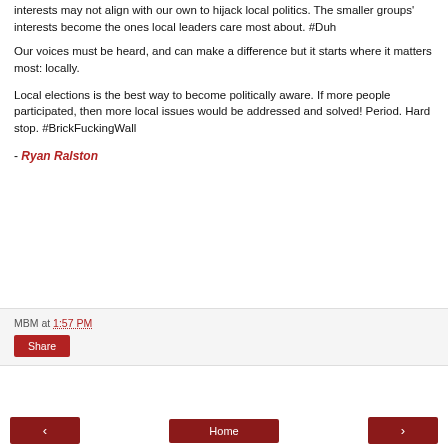interests may not align with our own to hijack local politics. The smaller groups' interests become the ones local leaders care most about. #Duh
Our voices must be heard, and can make a difference but it starts where it matters most: locally.
Local elections is the best way to become politically aware. If more people participated, then more local issues would be addressed and solved! Period. Hard stop. #BrickFuckingWall
- Ryan Ralston
MBM at 1:57 PM
Share
‹
Home
›